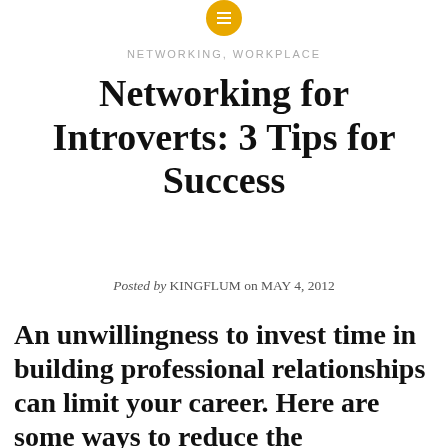[Figure (logo): Yellow circle icon with white horizontal lines (hamburger/menu icon)]
NETWORKING, WORKPLACE
Networking for Introverts: 3 Tips for Success
Posted by KINGFLUM on MAY 4, 2012
An unwillingness to invest time in building professional relationships can limit your career. Here are some ways to reduce the